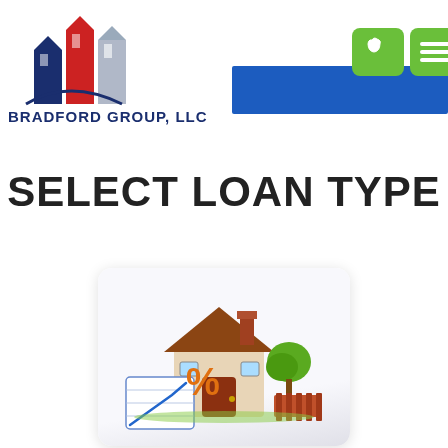[Figure (logo): Bradford Group LLC logo with red, white and blue skyscrapers and text 'BRADFORD GROUP, LLC - MAKING A DIFFERENCE']
[Figure (illustration): Navigation bar area with two green square buttons (phone icon and hamburger menu icon) and a blue banner bar]
SELECT LOAN TYPE
[Figure (illustration): Mortgage/home loan illustration showing a cartoon house with a percentage sign, a graph chart, and trees inside a rounded white card]